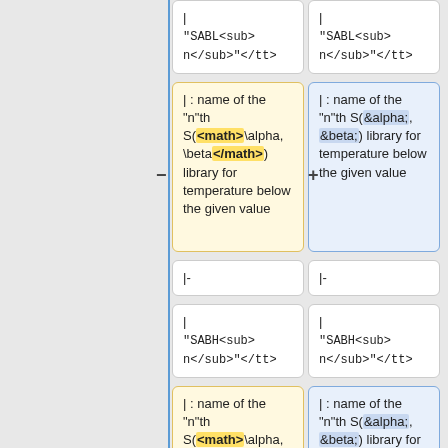| Left column | Right column |
| --- | --- |
| | <tt>"SABL<sub>n</sub>"</tt> | | <tt>"SABL<sub>n</sub>"</tt> |
| | : name of the "n"th S(<math>\alpha, \beta</math>) library for temperature below the given value | | : name of the "n"th S(&alpha;, &beta;) library for temperature below the given value |
| |- | |- |
| | <tt>"SABH<sub>n</sub>"</tt> | | <tt>"SABH<sub>n</sub>"</tt> |
| | : name of the "n"th S(<math>\alpha, \beta</math>) library for temperature above the given value | | : name of the "n"th S(&alpha;, &beta;) library for temperature above the given value |